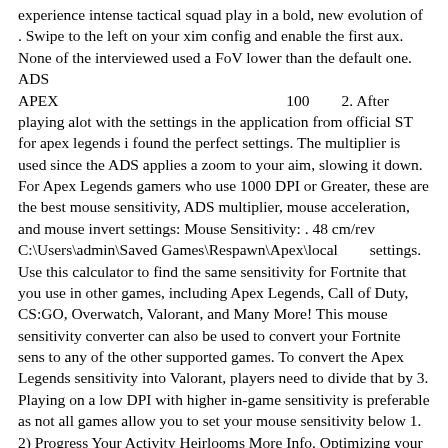experience intense tactical squad play in a bold, new evolution of . Swipe to the left on your xim config and enable the first aux. None of the interviewed used a FoV lower than the default one. ADS　　　　　　　　　　　　　　　　　　　　　 　　　　　　APEX　　　　　　　　　　 　　　　100　　2. After playing alot with the settings in the application from official ST for apex legends i found the perfect settings. The multiplier is used since the ADS applies a zoom to your aim, slowing it down. For Apex Legends gamers who use 1000 DPI or Greater, these are the best mouse sensitivity, ADS multiplier, mouse acceleration, and mouse invert settings: Mouse Sensitivity: . 48 cm/rev　　　　 　　　　　　　 　　　 C:\Users\admin\Saved Games\Respawn\Apex\local　　settings. Use this calculator to find the same sensitivity for Fortnite that you use in other games, including Apex Legends, Call of Duty, CS:GO, Overwatch, Valorant, and Many More! This mouse sensitivity converter can also be used to convert your Fortnite sens to any of the other supported games. To convert the Apex Legends sensitivity into Valorant, players need to divide that by 3. Playing on a low DPI with higher in-game sensitivity is preferable as not all games allow you to set your mouse sensitivity below 1. 2) Progress Your Activity Heirlooms More Info. Optimizing your sensitivity Unlike many other FPS games such as Apex Legends or Overwatch, Valorant is a tactical FPS. Just go through the list below. If you are a veteran in Apex Legends, Rainbow Six Siege, or Overwatch, we will tell you the ratio to adjust the sensitivity just in case you need it. 0x 94; Scope 2, Edpi Formula: By knowing